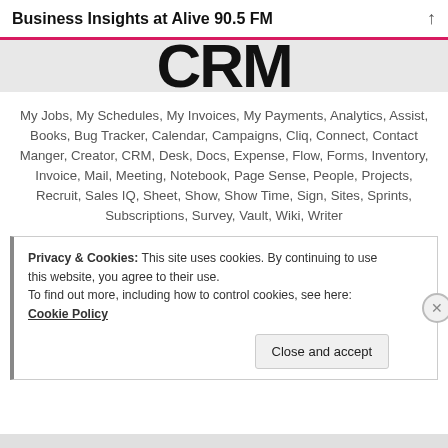Business Insights at Alive 90.5 FM
[Figure (logo): CRM logo in large bold black text on light grey background]
My Jobs, My Schedules, My Invoices, My Payments, Analytics, Assist, Books, Bug Tracker, Calendar, Campaigns, Cliq, Connect, Contact Manger, Creator, CRM, Desk, Docs, Expense, Flow, Forms, Inventory, Invoice, Mail, Meeting, Notebook, Page Sense, People, Projects, Recruit, Sales IQ, Sheet, Show, Show Time, Sign, Sites, Sprints, Subscriptions, Survey, Vault, Wiki, Writer
Privacy & Cookies: This site uses cookies. By continuing to use this website, you agree to their use.
To find out more, including how to control cookies, see here:
Cookie Policy
Close and accept